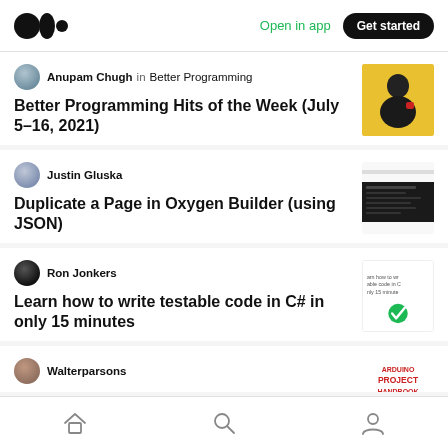Medium app header with logo, Open in app, Get started
Anupam Chugh in Better Programming
Better Programming Hits of the Week (July 5–16, 2021)
[Figure (photo): Thumbnail photo of person with red mug on yellow background]
Justin Gluska
Duplicate a Page in Oxygen Builder (using JSON)
[Figure (screenshot): Screenshot of Oxygen Builder dark interface]
Ron Jonkers
Learn how to write testable code in C# in only 15 minutes
[Figure (screenshot): Thumbnail showing text about testable code in C# with green checkmark]
Walterparsons
[Figure (photo): Arduino Project Handbook book cover]
Home, Search, Profile navigation icons